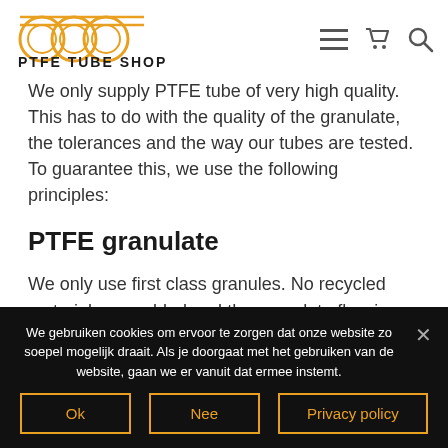PTFE TUBE SHOP
We only supply PTFE tube of very high quality. This has to do with the quality of the granulate, the tolerances and the way our tubes are tested. To guarantee this, we use the following principles:
PTFE granulate
We only use first class granules. No recycled materials are added and the granulate flow is tightly controlled in the factory.
We gebruiken cookies om ervoor te zorgen dat onze website zo soepel mogelijk draait. Als je doorgaat met het gebruiken van de website, gaan we er vanuit dat ermee instemt.